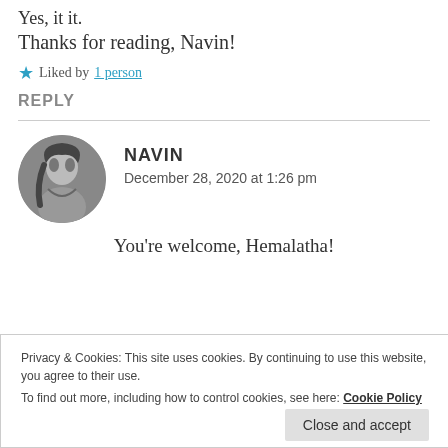Yes, it it.
Thanks for reading, Navin!
★ Liked by 1 person
REPLY
NAVIN
December 28, 2020 at 1:26 pm
You're welcome, Hemalatha!
Privacy & Cookies: This site uses cookies. By continuing to use this website, you agree to their use.
To find out more, including how to control cookies, see here: Cookie Policy
Close and accept